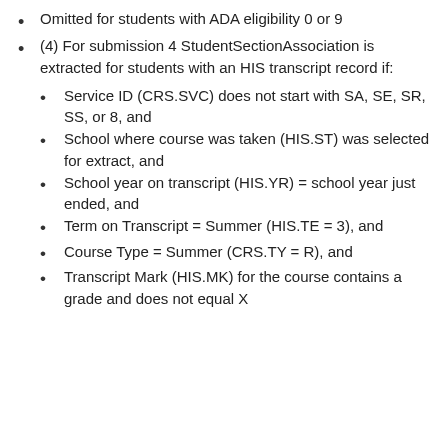Omitted for students with ADA eligibility 0 or 9
(4) For submission 4 StudentSectionAssociation is extracted for students with an HIS transcript record if:
Service ID (CRS.SVC) does not start with SA, SE, SR, SS, or 8, and
School where course was taken (HIS.ST) was selected for extract, and
School year on transcript (HIS.YR) = school year just ended, and
Term on Transcript = Summer (HIS.TE = 3), and
Course Type = Summer (CRS.TY = R), and
Transcript Mark (HIS.MK) for the course contains a grade and does not equal X